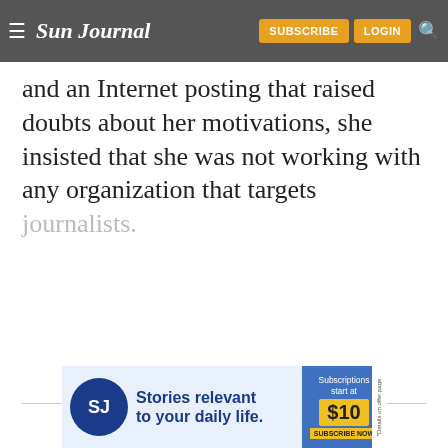Sun Journal — SUBSCRIBE | LOGIN
and an Internet posting that raised doubts about her motivations, she insisted that she was not working with any organization that targets journalists.
CONTINUE READING
[Figure (illustration): Sun Journal subscription advertisement banner showing logo, 'Stories relevant to your daily life.' text, and 'Subscriptions start at $10 SUBSCRIBE NOW' offer.]